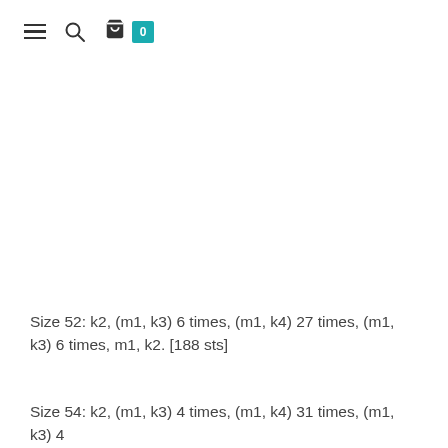≡ 🔍 🛒 0
Size 52: k2, (m1, k3) 6 times, (m1, k4) 27 times, (m1, k3) 6 times, m1, k2. [188 sts]
Size 54: k2, (m1, k3) 4 times, (m1, k4) 31 times, (m1, k3) 4